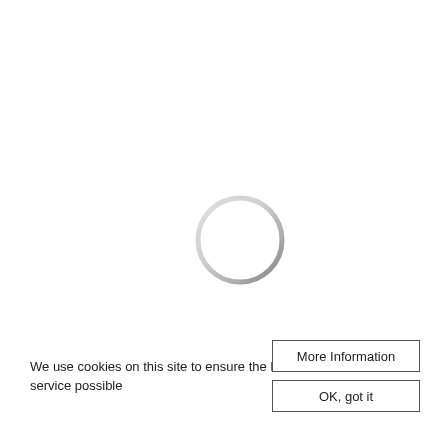[Figure (other): A loading spinner — a thin circle outline that transitions from light gray at the top to darker gray at the bottom-left, indicating a loading state.]
We use cookies on this site to ensure the best service possible
More Information
OK, got it